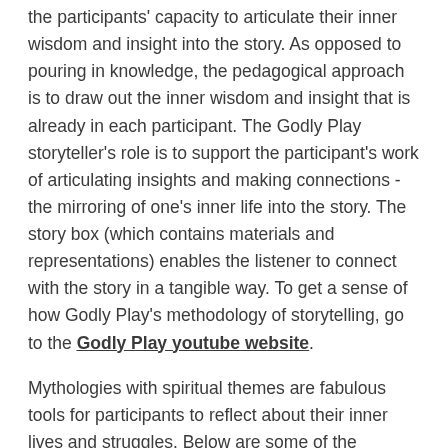the participants' capacity to articulate their inner wisdom and insight into the story. As opposed to pouring in knowledge, the pedagogical approach is to draw out the inner wisdom and insight that is already in each participant. The Godly Play storyteller's role is to support the participant's work of articulating insights and making connections - the mirroring of one's inner life into the story. The story box (which contains materials and representations) enables the listener to connect with the story in a tangible way. To get a sense of how Godly Play's methodology of storytelling, go to the Godly Play youtube website.
Mythologies with spiritual themes are fabulous tools for participants to reflect about their inner lives and struggles. Below are some of the mythologies from different cultures that I have utilized in my Spiritual Care Groups.